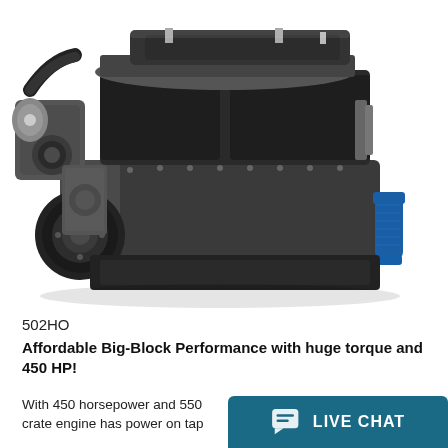[Figure (photo): Chevrolet 502HO big-block crate engine, showing dark gray engine block with chrome/silver accessory drives, blue oil filter canister on right side, radiator hose on left, and valve covers visible from 3/4 front-left angle on white background.]
502HO
Affordable Big-Block Performance with huge torque and 450 HP!
With 450 horsepower and 550 crate engine has power on tap